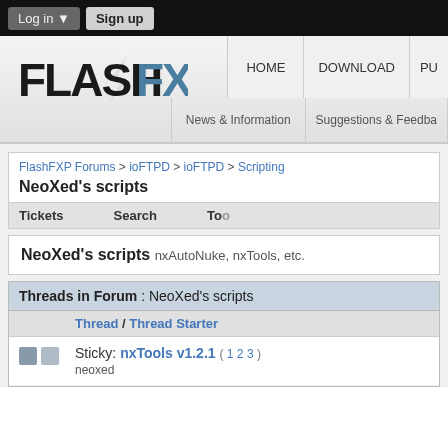Log in ▼  Sign up
[Figure (logo): FlashFXP logo with lightning bolt, navigation items: HOME, DOWNLOAD, PU... and sub-nav: News & Information, Suggestions & Feedba...]
FlashFXP Forums > ioFTPD > ioFTPD > Scripting
NeoXed's scripts
| Tickets | Search | To... |
| --- | --- | --- |
NeoXed's scripts  nxAutoNuke, nxTools, etc.
Threads in Forum : NeoXed's scripts
| Thread / Thread Starter |
| --- |
| Sticky: nxTools v1.2.1 ( 1 2 3 )
neoxed |
Sticky: nxTools v1.2.1 ( 1 2 3 ) neoxed